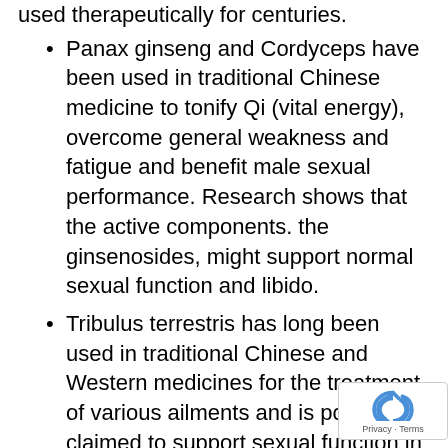used therapeutically for centuries.
Panax ginseng and Cordyceps have been used in traditional Chinese medicine to tonify Qi (vital energy), overcome general weakness and fatigue and benefit male sexual performance. Research shows that the active components. the ginsenosides, might support normal sexual function and libido.
Tribulus terrestris has long been used in traditional Chinese and Western medicines for the treatment of various ailments and is popularly claimed to support sexual function in men. Research has shown that protodioscin, an active component, might support sexual desire and performance, and maintain a healthy male reproductive system.
Epimedium sagitattum, also called Horny Goat Weed, originates from a Chinese legend that a shepherd noticed his goats becoming particularly…